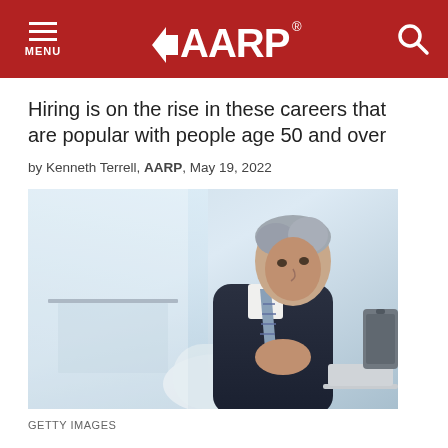MENU | AARP | Search
Hiring is on the rise in these careers that are popular with people age 50 and over
by Kenneth Terrell, AARP, May 19, 2022
[Figure (photo): Older businessman in a dark suit and striped tie sitting in a modern white chair in a bright office or airport lounge, looking thoughtfully to the side with hands clasped, a laptop visible in the lower right, luggage in background.]
GETTY IMAGES